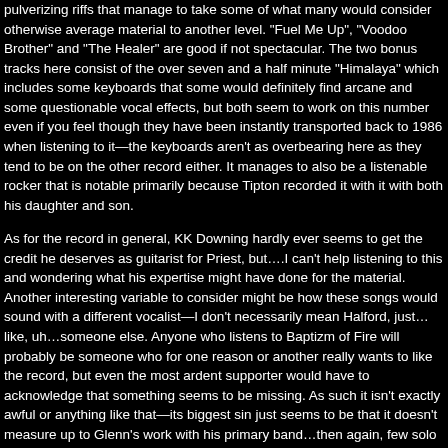pulverizing riffs that manage to take some of what many would consider otherwise average material to another level. "Fuel Me Up", "Voodoo Brother" and "The Healer" are good if not spectacular. The two bonus tracks here consist of the over seven and a half minute "Himalaya" which includes some keyboards that some would definitely find arcane and some questionable vocal effects, but both seem to work on this number even if you feel though they have been instantly transported back to 1986 when listening to it—the keyboards aren't as overbearing here as they tend to be on the other record either. It manages to also be a listenable rocker that is notable primarily because Tipton recorded it with it with both his daughter and son.
As for the record in general, KK Downing hardly ever seems to get the credit he deserves as guitarist for Priest, but….I can't help listening to this and wondering what his expertise might have done for the material. Another interesting variable to consider might be how these songs would sound with a different vocalist—I don't necessarily mean Halford, just…like, uh…someone else. Anyone who listens to Baptizm of Fire will probably be someone who for one reason or another really wants to like the record, but even the most ardent supporter would have to acknowledge that something seems to be missing. As such it isn't exactly awful or anything like that—its biggest sin just seems to be that it doesn't measure up to Glenn's work with his primary band…then again, few solo records do.
Edge of the Word is being released by Rhino on the same day as the Tipton record, from a band forever to be known as Tipton, Entwistle and Powell. It is kind of ironic that the roster of songs which was eschewed nearly a decade ago now proves a major selling point partially because Entwistle and Powell are now deceased. On the outside, a rock fan would tend to assume that such a collaboration would rock in ways heretofore never experienced by mortal man….but….well, listening to this would have to come as a definite semi-shock to any devoted follower of the three. I say this mostly because it could be just about any professional band there playing in this rhythm section—hell, it could be the rhythm section for Def Leppard or the Runners for all the difference it makes here. You know how you can pop on Scorpions' Blackout or Vengeance, and it rocks in much the same way it did in 1982? Well…this isn't that record.